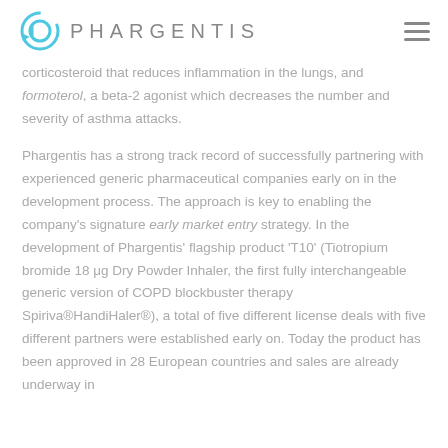PHARGENTIS
corticosteroid that reduces inflammation in the lungs, and formoterol, a beta-2 agonist which decreases the number and severity of asthma attacks.
Phargentis has a strong track record of successfully partnering with experienced generic pharmaceutical companies early on in the development process. The approach is key to enabling the company’s signature early market entry strategy. In the development of Phargentis’ flagship product ‘T10’ (Tiotropium bromide 18 μg Dry Powder Inhaler, the first fully interchangeable generic version of COPD blockbuster therapy Spiriva® HandiHaler®), a total of five different license deals with five different partners were established early on. Today the product has been approved in 28 European countries and sales are already underway in